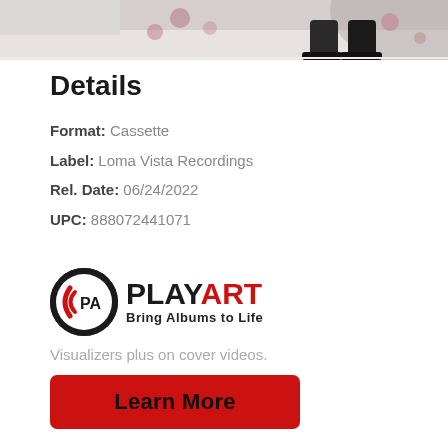[Figure (photo): Cropped photo showing boots/shoes on a floor, top portion of an album cover image]
Details
Format: Cassette
Label: Loma Vista Recordings
Rel. Date: 06/24/2022
UPC: 888072441071
[Figure (logo): PlayArt logo — circular icon with PA and sound wave graphic, text PLAYART Bring Albums to Life]
Visualizers plus on cover videos.
Learn More